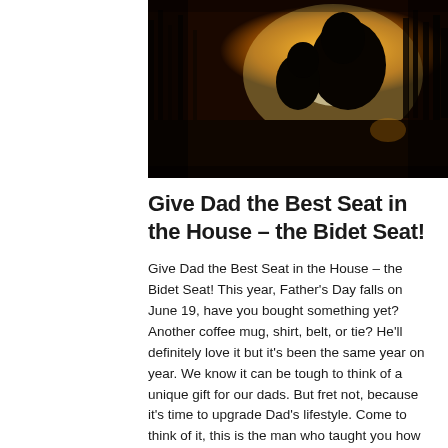[Figure (photo): A silhouette photograph of a parent and child (or two people) in an intimate close moment, backlit by warm golden sunset light, with trees visible in the background. The image has warm amber/orange tones.]
Give Dad the Best Seat in the House – the Bidet Seat!
Give Dad the Best Seat in the House – the Bidet Seat! This year, Father's Day falls on June 19, have you bought something yet? Another coffee mug, shirt, belt, or tie? He'll definitely love it but it's been the same year on year. We know it can be tough to think of a unique gift for our dads. But fret not, because it's time to upgrade Dad's lifestyle. Come to think of it, this is the man who taught you how to take a bath,